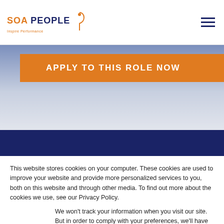SOA PEOPLE Inspire Performance
[Figure (screenshot): Orange banner button with text APPLY TO THIS ROLE NOW on a blue-grey gradient background, with a dark navy bar below]
This website stores cookies on your computer. These cookies are used to improve your website and provide more personalized services to you, both on this website and through other media. To find out more about the cookies we use, see our Privacy Policy.
We won't track your information when you visit our site. But in order to comply with your preferences, we'll have to use just one tiny cookie so that you're not asked to make this choice again.
Accept  Decline